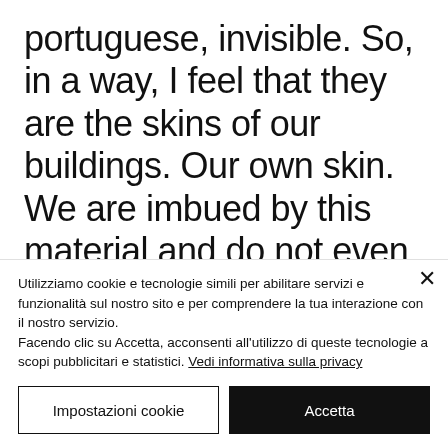portuguese, invisible. So, in a way, I feel that they are the skins of our buildings. Our own skin. We are imbued by this material and do not even realize it. It is exactly because of that
Utilizziamo cookie e tecnologie simili per abilitare servizi e funzionalità sul nostro sito e per comprendere la tua interazione con il nostro servizio.
Facendo clic su Accetta, acconsenti all'utilizzo di queste tecnologie a scopi pubblicitari e statistici. Vedi informativa sulla privacy
Impostazioni cookie
Accetta